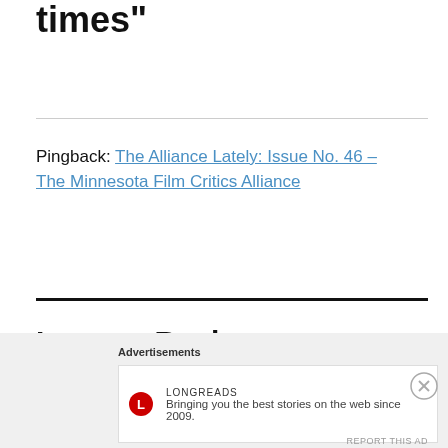times”
Pingback: The Alliance Lately: Issue No. 46 – The Minnesota Film Critics Alliance
Leave a Reply
Your email address will not be published. Required fields are marked *
Advertisements
Longreads
Bringing you the best stories on the web since 2009.